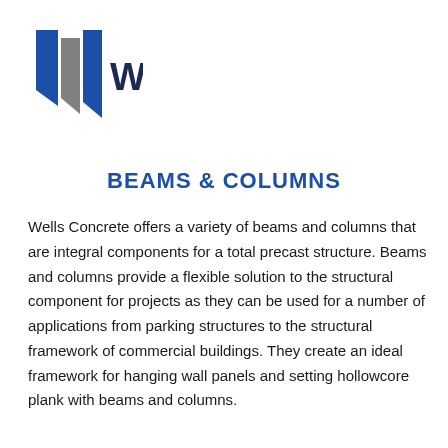[Figure (logo): Wells logo: two blue and grey geometric arrow/shield shapes on the left, followed by bold dark navy text WELLS]
BEAMS & COLUMNS
Wells Concrete offers a variety of beams and columns that are integral components for a total precast structure. Beams and columns provide a flexible solution to the structural component for projects as they can be used for a number of applications from parking structures to the structural framework of commercial buildings. They create an ideal framework for hanging wall panels and setting hollowcore plank with beams and columns.